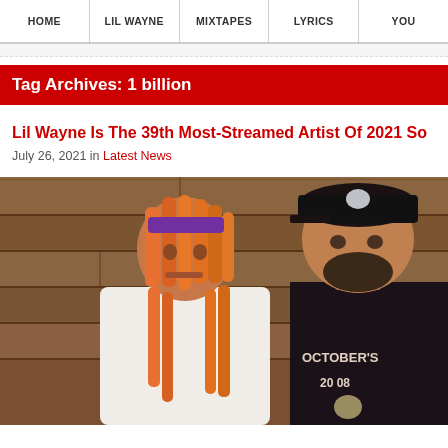HOME | LIL WAYNE | MIXTAPES | LYRICS | YOU
Tag Archives: 1 billion
Lil Wayne Is The 39th Most-Streamed Artist Of 2021 So...
July 26, 2021 in Latest News
[Figure (photo): Photo of two men standing in front of a wooden plank wall. Left person (Lil Wayne) with orange dreadlocks wearing white t-shirt. Right person wearing dark cap and black October's Own shirt.]